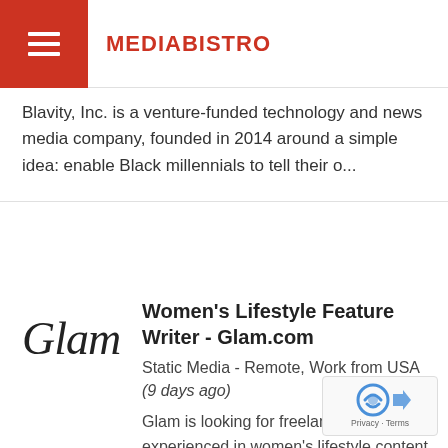MEDIABISTRO
Blavity, Inc. is a venture-funded technology and news media company, founded in 2014 around a simple idea: enable Black millennials to tell their o...
[Figure (logo): Glam logo in cursive handwriting style]
Women's Lifestyle Feature Writer - Glam.com
Static Media - Remote, Work from USA (9 days ago)
Glam is looking for freelance writers experienced in women's lifestyle content to join our feature team
[Figure (logo): Google reCAPTCHA badge with Privacy and Terms links]